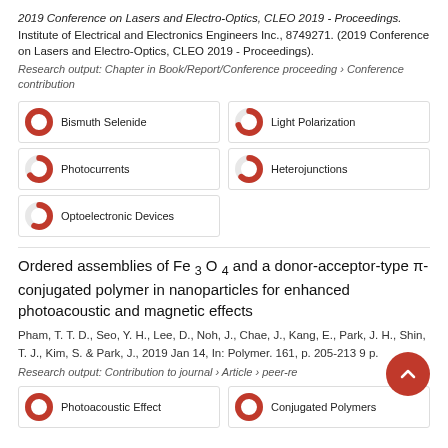2019 Conference on Lasers and Electro-Optics, CLEO 2019 - Proceedings. Institute of Electrical and Electronics Engineers Inc., 8749271. (2019 Conference on Lasers and Electro-Optics, CLEO 2019 - Proceedings).
Research output: Chapter in Book/Report/Conference proceeding › Conference contribution
Bismuth Selenide 100%
Light Polarization 70%
Photocurrents 66%
Heterojunctions 62%
Optoelectronic Devices 57%
Ordered assemblies of Fe 3 O 4 and a donor-acceptor-type π-conjugated polymer in nanoparticles for enhanced photoacoustic and magnetic effects
Pham, T. T. D., Seo, Y. H., Lee, D., Noh, J., Chae, J., Kang, E., Park, J. H., Shin, T. J., Kim, S. & Park, J., 2019 Jan 14, In: Polymer. 161, p. 205-213 9 p.
Research output: Contribution to journal › Article › peer-reviewed
Photoacoustic Effect 100%
Conjugated Polymers 100%